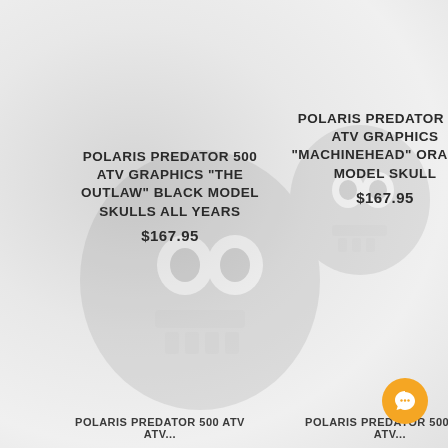[Figure (photo): Faded/ghosted background image of ATV rider with skull motif, light gray wash over entire page]
POLARIS PREDATOR 500 ATV GRAPHICS "THE OUTLAW" BLACK MODEL SKULLS ALL YEARS
$167.95
POLARIS PREDATOR 500 ATV GRAPHICS "MACHINEHEAD" ORANGE MODEL SKULL
$167.95
POLARIS PREDATOR 500 ATV ATV...
POLARIS PREDATOR 500 ATV ATV...